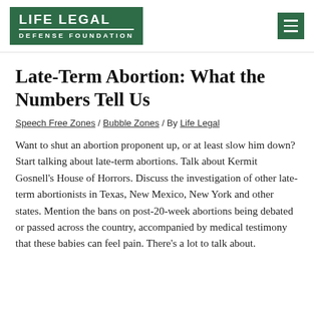[Figure (logo): Life Legal Defense Foundation logo — green rectangle with white text reading LIFE LEGAL on top and DEFENSE FOUNDATION below, separated by a white line]
Late-Term Abortion: What the Numbers Tell Us
Speech Free Zones / Bubble Zones / By Life Legal
Want to shut an abortion proponent up, or at least slow him down? Start talking about late-term abortions. Talk about Kermit Gosnell's House of Horrors. Discuss the investigation of other late-term abortionists in Texas, New Mexico, New York and other states. Mention the bans on post-20-week abortions being debated or passed across the country, accompanied by medical testimony that these babies can feel pain. There's a lot to talk about.